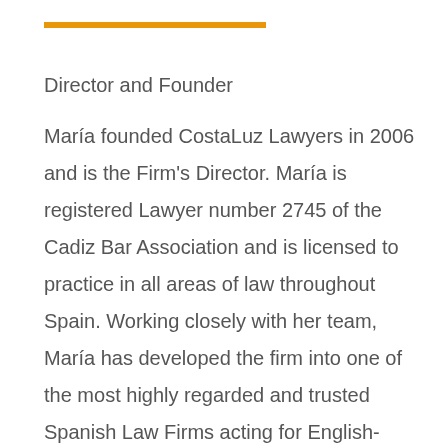Director and Founder
María founded CostaLuz Lawyers in 2006 and is the Firm's Director. María is registered Lawyer number 2745 of the Cadiz Bar Association and is licensed to practice in all areas of law throughout Spain. Working closely with her team, María has developed the firm into one of the most highly regarded and trusted Spanish Law Firms acting for English-speaking clients with legal problems in Spain